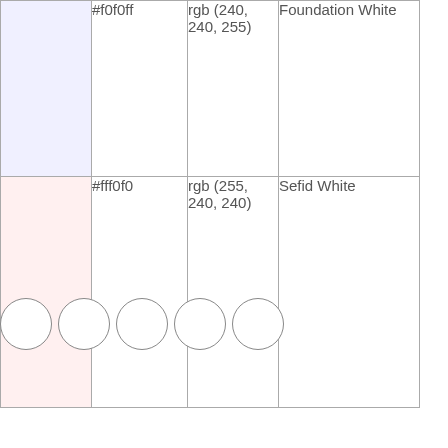| Swatch | Hex | RGB | Name |
| --- | --- | --- | --- |
| [lavender swatch] | #f0f0ff | rgb (240, 240, 255) | Foundation White |
| [pink swatch] | #fff0f0 | rgb (255, 240, 240) | Sefid White |
[Figure (other): Five empty circles arranged in a horizontal row, pagination or step indicator dots]